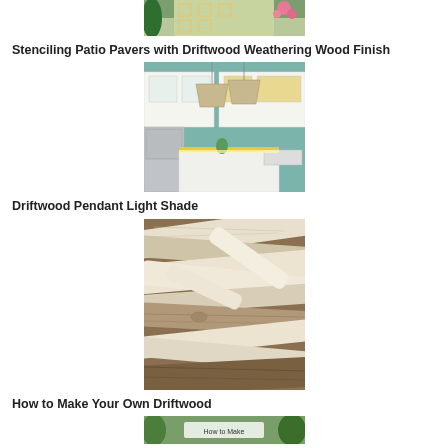[Figure (photo): Top partial image of stenciled patio pavers with plants and flowers, cropped at top of page]
Stenciling Patio Pavers with Driftwood Weathering Wood Finish
[Figure (photo): Kitchen interior with driftwood pendant light shades hanging over an island, white cabinets and teal wall]
Driftwood Pendant Light Shade
[Figure (photo): Close-up of bleached driftwood pieces stacked together showing pale weathered wood texture]
How to Make Your Own Driftwood
[Figure (photo): Partial bottom image showing outdoor scene related to making driftwood, partially cropped]